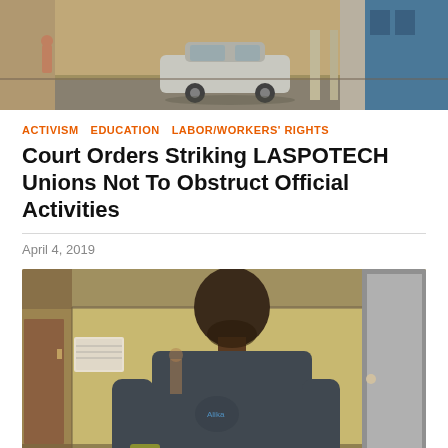[Figure (photo): Street scene with car and buildings in background, top of article image]
ACTIVISM  EDUCATION  LABOR/WORKERS' RIGHTS
Court Orders Striking LASPOTECH Unions Not To Obstruct Official Activities
April 4, 2019
[Figure (photo): Man with bandaged arm standing in a corridor, wearing a dark grey t-shirt]